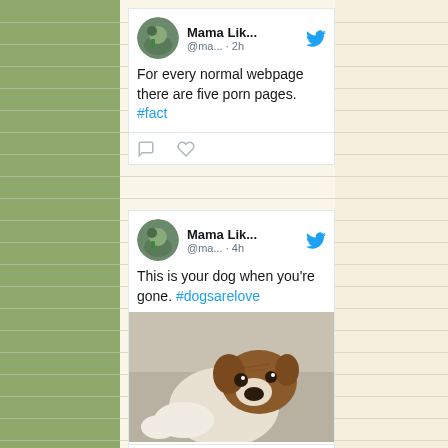[Figure (screenshot): First tweet from Mama Lik... @ma... · 2h. Text: For every normal webpage there are five porn pages. #fact. Shows reply and heart icons.]
[Figure (screenshot): Second tweet from Mama Lik... @ma... · 4h. Text: This is your dog when you're gone. #dogsarelove. Includes photo of a boxer puppy lying on a couch. Shows reply and heart icons with count 1.]